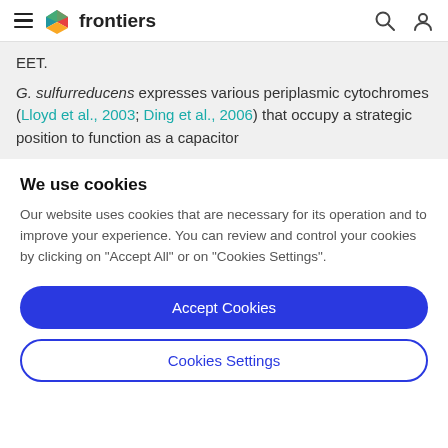frontiers
EET.

G. sulfurreducens expresses various periplasmic cytochromes (Lloyd et al., 2003; Ding et al., 2006) that occupy a strategic position to function as a capacitor
We use cookies
Our website uses cookies that are necessary for its operation and to improve your experience. You can review and control your cookies by clicking on "Accept All" or on "Cookies Settings".
Accept Cookies
Cookies Settings